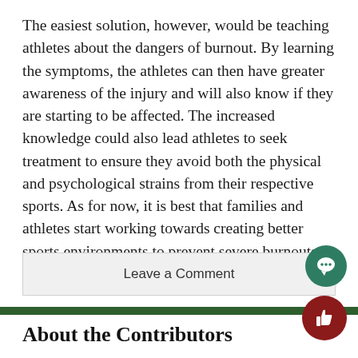The easiest solution, however, would be teaching athletes about the dangers of burnout. By learning the symptoms, the athletes can then have greater awareness of the injury and will also know if they are starting to be affected. The increased knowledge could also lead athletes to seek treatment to ensure they avoid both the physical and psychological strains from their respective sports. As for now, it is best that families and athletes start working towards creating better sports environments to prevent severe burnouts.
Leave a Comment
About the Contributors